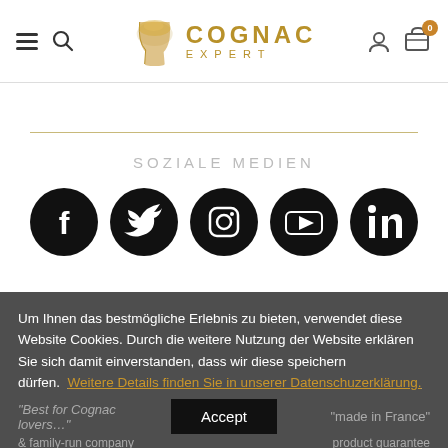[Figure (logo): Cognac Expert logo with cognac glass icon and text 'COGNAC EXPERT' in gold]
SOZIALE MEDIEN
[Figure (infographic): Five social media icons: Facebook, Twitter, Instagram, YouTube, LinkedIn — black circles with white icons]
Um Ihnen das bestmögliche Erlebnis zu bieten, verwendet diese Website Cookies. Durch die weitere Nutzung der Website erklären Sie sich damit einverstanden, dass wir diese speichern dürfen. Weitere Details finden Sie in unserer Datenschuzerklärung.
Accept
"Best for Cognac lovers…" "made in France" & family-run company  product guarantee